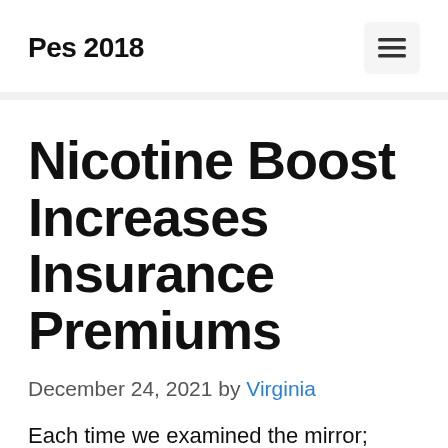Pes 2018
Nicotine Boost Increases Insurance Premiums
December 24, 2021 by Virginia
Each time we examined the mirror; each